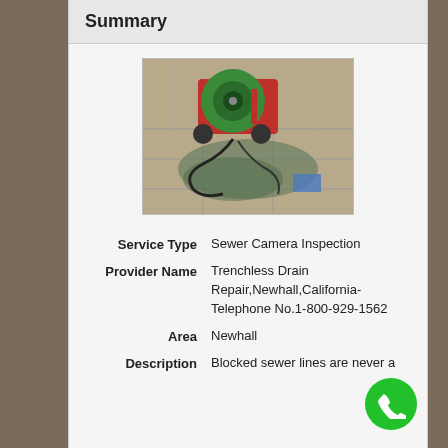Summary
[Figure (photo): A drain cleaning machine (green drum/reel on red frame) on wet stone pavement with hoses/cables, used for sewer camera inspection service.]
Service Type   Sewer Camera Inspection
Provider Name   Trenchless Drain Repair,Newhall,California- Telephone No.1-800-929-1562
Area   Newhall
Description   Blocked sewer lines are never a